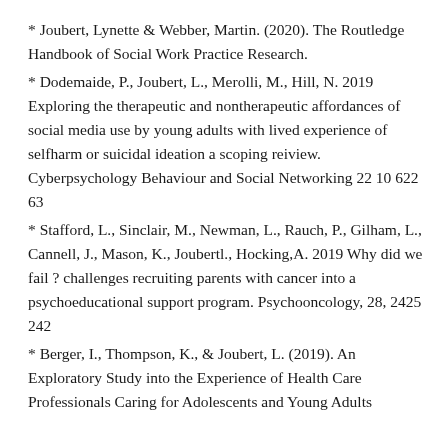* Joubert, Lynette & Webber, Martin. (2020). The Routledge Handbook of Social Work Practice Research.
* Dodemaide, P., Joubert, L., Merolli, M., Hill, N. 2019 Exploring the therapeutic and nontherapeutic affordances of social media use by young adults with lived experience of selfharm or suicidal ideation a scoping reiview. Cyberpsychology Behaviour and Social Networking 22 10 622 63
* Stafford, L., Sinclair, M., Newman, L., Rauch, P., Gilham, L., Cannell, J., Mason, K., Joubertl., Hocking,A. 2019 Why did we fail ? challenges recruiting parents with cancer into a psychoeducational support program. Psychooncology, 28, 2425 242
* Berger, I., Thompson, K., & Joubert, L. (2019). An Exploratory Study into the Experience of Health Care Professionals Caring for Adolescents and Young Adults